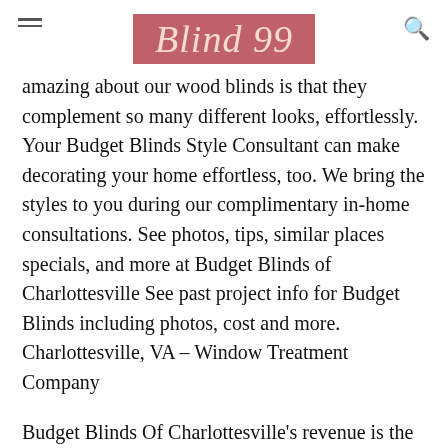Blind 99
amazing about our wood blinds is that they complement so many different looks, effortlessly. Your Budget Blinds Style Consultant can make decorating your home effortless, too. We bring the styles to you during our complimentary in-home consultations. See photos, tips, similar places specials, and more at Budget Blinds of Charlottesville See past project info for Budget Blinds including photos, cost and more. Charlottesville, VA – Window Treatment Company
Budget Blinds Of Charlottesville's revenue is the